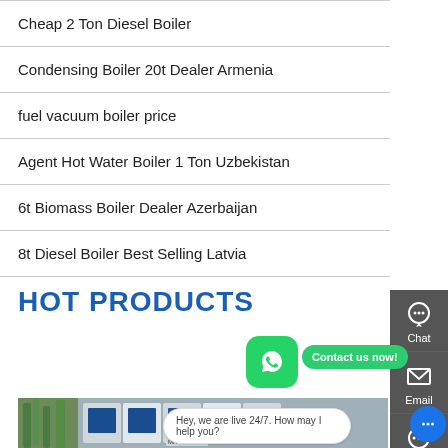Cheap 2 Ton Diesel Boiler
Condensing Boiler 20t Dealer Armenia
fuel vacuum boiler price
Agent Hot Water Boiler 1 Ton Uzbekistan
6t Biomass Boiler Dealer Azerbaijan
8t Diesel Boiler Best Selling Latvia
HOT PRODUCTS
[Figure (photo): Industrial boilers, white and blue, with bamboo plants in background]
[Figure (screenshot): Sidebar with Chat, Email, Contact icons on dark grey background; WhatsApp button; Contact us now green button; live chat bubble saying Hey, we are live 24/7. How may I help you?]